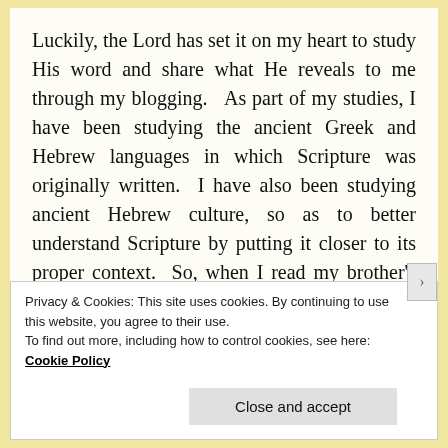Luckily, the Lord has set it on my heart to study His word and share what He reveals to me through my blogging.  As part of my studies, I have been studying the ancient Greek and Hebrew languages in which Scripture was originally written.  I have also been studying ancient Hebrew culture, so as to better understand Scripture by putting it closer to its proper context.  So, when I read my brother's Face Book post this morning, I did not realize it, but the Lord was already helping me work out the
Privacy & Cookies: This site uses cookies. By continuing to use this website, you agree to their use.
To find out more, including how to control cookies, see here: Cookie Policy
Close and accept